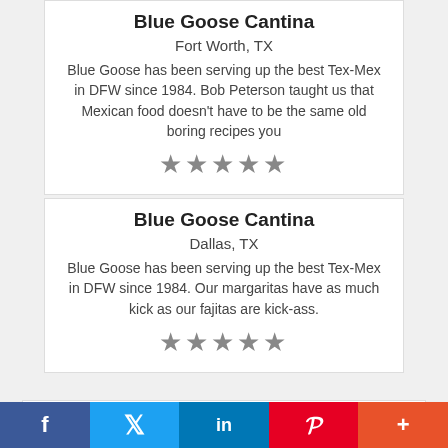Blue Goose Cantina
Fort Worth, TX
Blue Goose has been serving up the best Tex-Mex in DFW since 1984. Bob Peterson taught us that Mexican food doesn't have to be the same old boring recipes you
★★★★★
Blue Goose Cantina
Dallas, TX
Blue Goose has been serving up the best Tex-Mex in DFW since 1984. Our margaritas have as much kick as our fajitas are kick-ass.
★★★★★
Blue Goose Cantina
Frisco, TX
Blue Goose has been serving up the best Tex-
f  🐦  in  P  +